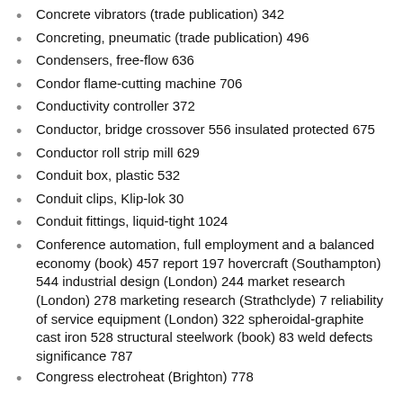Concrete vibrators (trade publication) 342
Concreting, pneumatic (trade publication) 496
Condensers, free-flow 636
Condor flame-cutting machine 706
Conductivity controller 372
Conductor, bridge crossover 556 insulated protected 675
Conductor roll strip mill 629
Conduit box, plastic 532
Conduit clips, Klip-lok 30
Conduit fittings, liquid-tight 1024
Conference automation, full employment and a balanced economy (book) 457 report 197 hovercraft (Southampton) 544 industrial design (London) 244 market research (London) 278 marketing research (Strathclyde) 7 reliability of service equipment (London) 322 spheroidal-graphite cast iron 528 structural steelwork (book) 83 weld defects significance 787
Congress electroheat (Brighton) 778